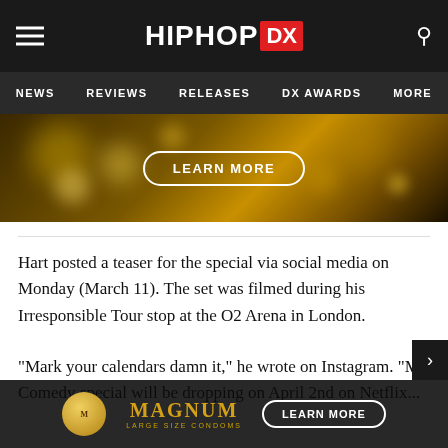HipHopDX — NEWS | REVIEWS | RELEASES | DX AWARDS | MORE
[Figure (photo): Dark golden bokeh advertisement banner with LEARN MORE button]
Hart posted a teaser for the special via social media on Monday (March 11). The set was filmed during his Irresponsible Tour stop at the O2 Arena in London.
“Mark your calendars damn it,” he wrote on Instagram. “My Comedy special will be dropping on April 2nd on Netflix... #Com...
[Figure (photo): Magnum condom advertisement banner at bottom with LEARN MORE button]